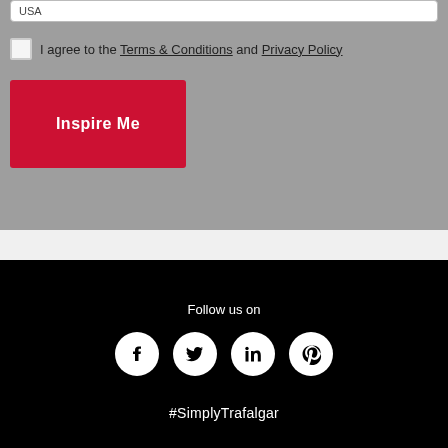USA
I agree to the Terms & Conditions and Privacy Policy
Inspire Me
Follow us on
[Figure (infographic): Four social media icons in white circles on black background: Facebook, Twitter, LinkedIn, Pinterest]
#SimplyTrafalgar